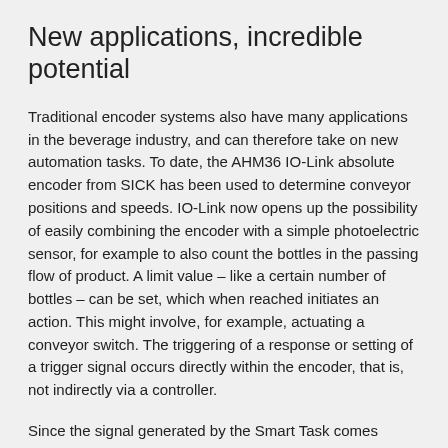New applications, incredible potential
Traditional encoder systems also have many applications in the beverage industry, and can therefore take on new automation tasks. To date, the AHM36 IO-Link absolute encoder from SICK has been used to determine conveyor positions and speeds. IO-Link now opens up the possibility of easily combining the encoder with a simple photoelectric sensor, for example to also count the bottles in the passing flow of product. A limit value – like a certain number of bottles – can be set, which when reached initiates an action. This might involve, for example, actuating a conveyor switch. The triggering of a response or setting of a trigger signal occurs directly within the encoder, that is, not indirectly via a controller.
Since the signal generated by the Smart Task comes directly from the encoder, no additional control unit is required in this case either. The ability to count bottles does not depend on the production speed. The combination of devices linked via IO-Link is configured using the SICK Engineering Tool SOPAS. This intuitive-to-use software can be used to parameterize, configure and diagnose almost all sensors and systems from